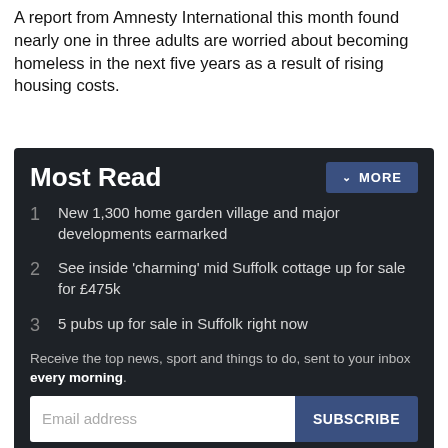A report from Amnesty International this month found nearly one in three adults are worried about becoming homeless in the next five years as a result of rising housing costs.
Most Read
1  New 1,300 home garden village and major developments earmarked
2  See inside 'charming' mid Suffolk cottage up for sale for £475k
3  5 pubs up for sale in Suffolk right now
Receive the top news, sport and things to do, sent to your inbox every morning.
Our Privacy Policy